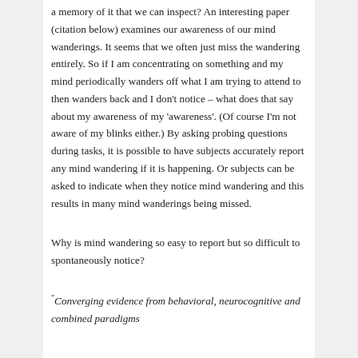a memory of it that we can inspect? An interesting paper (citation below) examines our awareness of our mind wanderings. It seems that we often just miss the wandering entirely. So if I am concentrating on something and my mind periodically wanders off what I am trying to attend to then wanders back and I don't notice – what does that say about my awareness of my 'awareness'. (Of course I'm not aware of my blinks either.) By asking probing questions during tasks, it is possible to have subjects accurately report any mind wandering if it is happening. Or subjects can be asked to indicate when they notice mind wandering and this results in many mind wanderings being missed.
Why is mind wandering so easy to report but so difficult to spontaneously notice?
“Converging evidence from behavioral, neurocognitive and combined paradigms